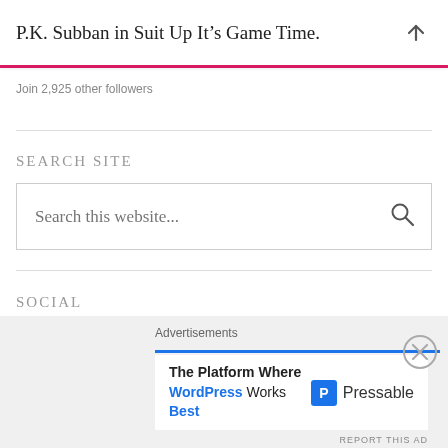P.K. Subban in Suit Up It's Game Time.
Join 2,925 other followers
SEARCH SITE
[Figure (screenshot): Search box with placeholder text 'Search this website...' and a magnifying glass icon]
SOCIAL
[Figure (infographic): Social media icons: Facebook, Twitter, Instagram, Pinterest, YouTube]
[Figure (screenshot): Advertisement banner: 'The Platform Where WordPress Works Best' — Pressable]